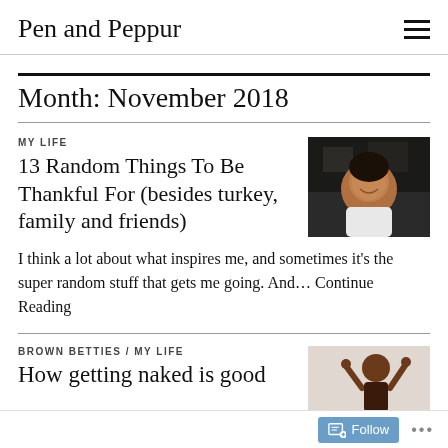Pen and Peppur
Month: November 2018
MY LIFE
13 Random Things To Be Thankful For (besides turkey, family and friends)
[Figure (photo): A smiling woman seated, wearing white, photographed at a restaurant or social setting]
I think a lot about what inspires me, and sometimes it's the super random stuff that gets me going. And... Continue Reading
BROWN BETTIES / MY LIFE
How getting naked is good
[Figure (photo): A Black woman with arms raised, photographed against a light wall]